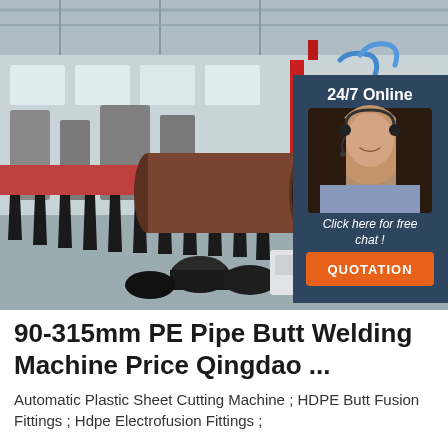[Figure (photo): Manufacturing facility showing a large PE pipe on a roller conveyor assembly line inside an industrial factory. To the right is an overlay widget with a customer service agent photo, '24/7 Online' text, 'Click here for free chat!' text, and an orange QUOTATION button.]
90-315mm PE Pipe Butt Welding Machine Price Qingdao ...
Automatic Plastic Sheet Cutting Machine ; HDPE Butt Fusion Fittings ; Hdpe Electrofusion Fittings ;